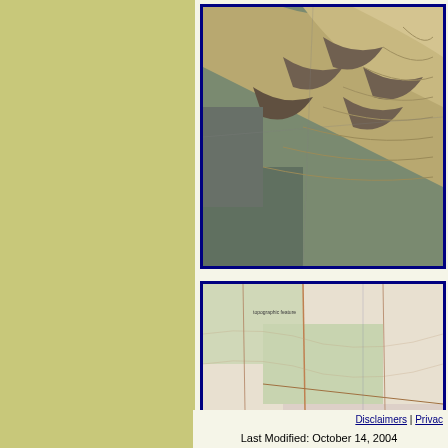[Figure (map): Topographic/shaded relief map showing mountainous terrain with brownish-tan tones and dark valley areas, bordered in dark blue]
[Figure (map): Topographic map with green and tan tones showing roads, terrain features, and geographic labels of a desert/semi-arid region, bordered in dark blue]
Disclaimers | Privacy
Last Modified: October 14, 2004